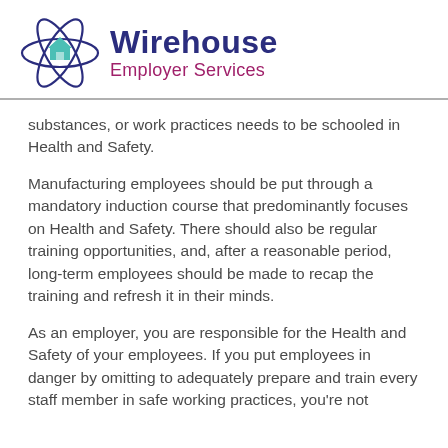[Figure (logo): Wirehouse Employer Services logo with atomic/orbital symbol containing a house icon and company name]
substances, or work practices needs to be schooled in Health and Safety.
Manufacturing employees should be put through a mandatory induction course that predominantly focuses on Health and Safety. There should also be regular training opportunities, and, after a reasonable period, long-term employees should be made to recap the training and refresh it in their minds.
As an employer, you are responsible for the Health and Safety of your employees. If you put employees in danger by omitting to adequately prepare and train every staff member in safe working practices, you're not